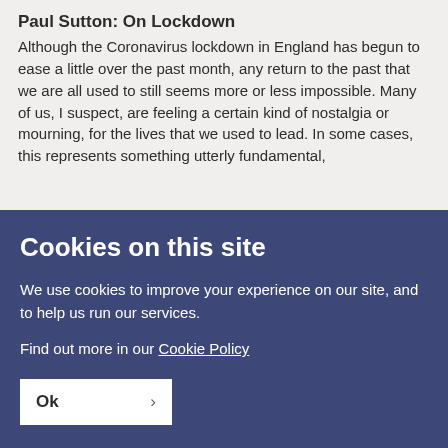Paul Sutton: On Lockdown
Although the Coronavirus lockdown in England has begun to ease a little over the past month, any return to the past that we are all used to still seems more or less impossible. Many of us, I suspect, are feeling a certain kind of nostalgia or mourning, for the lives that we used to lead. In some cases, this represents something utterly fundamental,
Cookies on this site
We use cookies to improve your experience on our site, and to help us run our services.
Find out more in our Cookie Policy
Ok